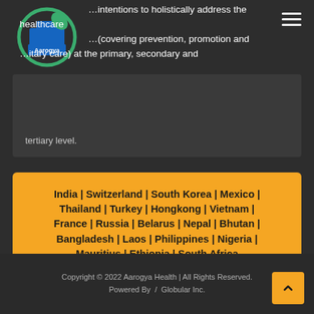[Figure (logo): Aarogya Health logo: circular green ring with a blue medical cross and green leaf, with 'Aarogya' text inside]
…intentions to holistically address the healthcare …(covering prevention, promotion and …itary care) at the primary, secondary and tertiary level.
India | Switzerland | South Korea | Mexico | Thailand | Turkey | Hongkong | Vietnam | France | Russia | Belarus | Nepal | Bhutan | Bangladesh | Laos | Philippines | Nigeria | Mauritius | Ethiopia | South Africa
Copyright © 2022 Aarogya Health | All Rights Reserved.
Powered By /  Globular Inc.